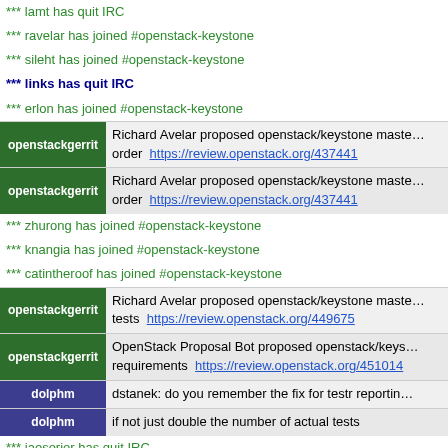*** lamt has quit IRC
*** ravelar has joined #openstack-keystone
*** sileht has joined #openstack-keystone
*** links has quit IRC
*** erlon has joined #openstack-keystone
openstackgerrit | Richard Avelar proposed openstack/keystone master order https://review.openstack.org/437441
openstackgerrit | Richard Avelar proposed openstack/keystone master order https://review.openstack.org/437441
*** zhurong has joined #openstack-keystone
*** knangia has joined #openstack-keystone
*** catintheroof has joined #openstack-keystone
openstackgerrit | Richard Avelar proposed openstack/keystone master tests https://review.openstack.org/449675
openstackgerrit | OpenStack Proposal Bot proposed openstack/keystone requirements https://review.openstack.org/451014
dolphm | dstanek: do you remember the fix for testr reporting
dolphm | if not just double the number of actual tests
*** jaosorior has quit IRC
*** chlong has joined #openstack-keystone
*** catintheroof has quit IRC
*** jaosorior has joined #openstack-keystone